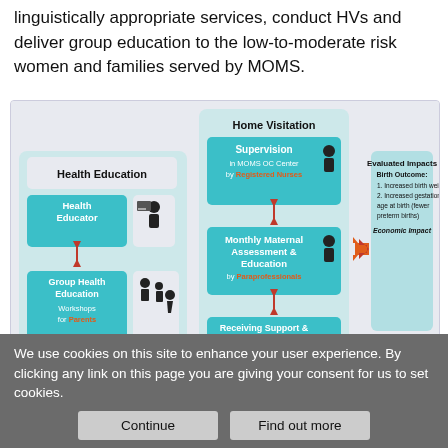linguistically appropriate services, conduct HVs and deliver group education to the low-to-moderate risk women and families served by MOMS.
[Figure (infographic): MOMS OC Community program diagram showing Home Visitation with Supervision by Registered Nurses, Monthly Maternal Assessment & Education by Paraprofessionals, Receiving Support & Education by Mother; Health Education with Health Educator, Group Health Education workshops for Parents; arrows leading to Evaluated Impacts: Birth Outcome (1. Increased birth weight, 2. Increased gestational age at birth fewer preterm births) and Economic Impact.]
We use cookies on this site to enhance your user experience. By clicking any link on this page you are giving your consent for us to set cookies.